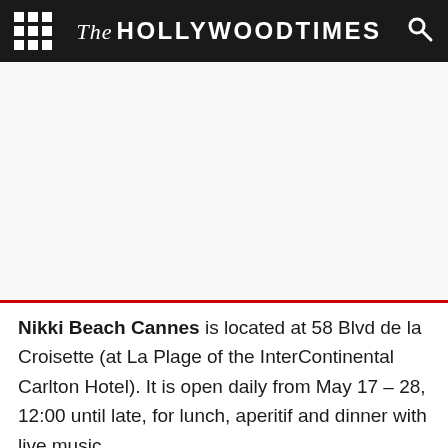The Hollywood Times
[Figure (other): White/light gray placeholder area for an image]
Nikki Beach Cannes is located at 58 Blvd de la Croisette (at La Plage of the InterContinental Carlton Hotel). It is open daily from May 17 – 28, 12:00 until late, for lunch, aperitif and dinner with live music.